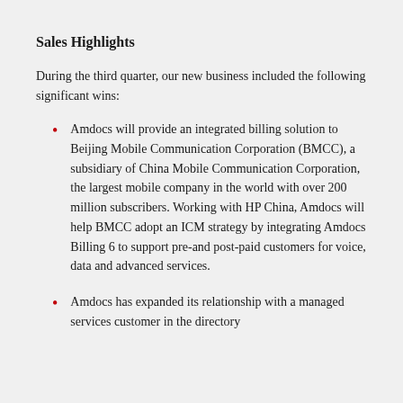Sales Highlights
During the third quarter, our new business included the following significant wins:
Amdocs will provide an integrated billing solution to Beijing Mobile Communication Corporation (BMCC), a subsidiary of China Mobile Communication Corporation, the largest mobile company in the world with over 200 million subscribers. Working with HP China, Amdocs will help BMCC adopt an ICM strategy by integrating Amdocs Billing 6 to support pre-and post-paid customers for voice, data and advanced services.
Amdocs has expanded its relationship with a managed services customer in the directory